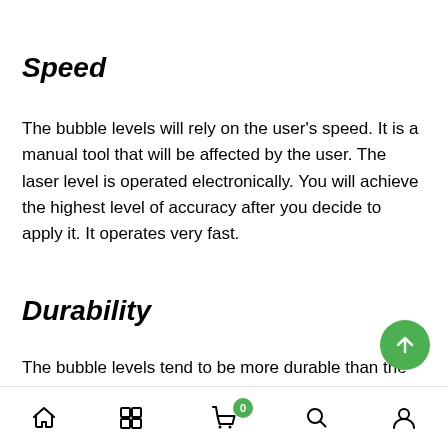Speed
The bubble levels will rely on the user's speed. It is a manual tool that will be affected by the user. The laser level is operated electronically. You will achieve the highest level of accuracy after you decide to apply it. It operates very fast.
Durability
The bubble levels tend to be more durable than the laser levels. The laser levels come with several moving parts
Home | Grid | Cart 0 | Search | Account